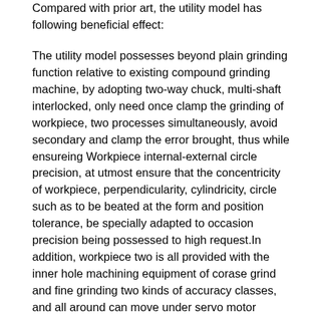Compared with prior art, the utility model has following beneficial effect:
The utility model possesses beyond plain grinding function relative to existing compound grinding machine, by adopting two-way chuck, multi-shaft interlocked, only need once clamp the grinding of workpiece, two processes simultaneously, avoid secondary and clamp the error brought, thus while ensureing Workpiece internal-external circle precision, at utmost ensure that the concentricity of workpiece, perpendicularity, cylindricity, circle such as to be beated at the form and position tolerance, be specially adapted to occasion precision being possessed to high request.In addition, workpiece two is all provided with the inner hole machining equipment of corase grind and fine grinding two kinds of accuracy classes, and all around can move under servo motor drives, and conveniently carries out inner hole grinding processing to the workpiece of different size length.Above workpiece, adopt planer-type profile scheme, peripheral milling assembly is horizontal to be hung on above two-way chuck, can move up and down by left-right and front-back under servo motor drives, and conveniently carries out cylindricalo grinding to any